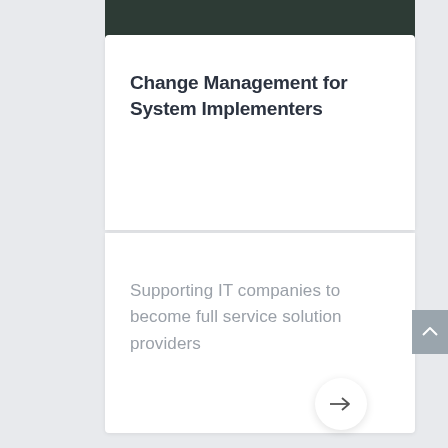[Figure (photo): Dark green/teal image strip at top of card, partially visible]
Change Management for System Implementers
Supporting IT companies to become full service solution providers